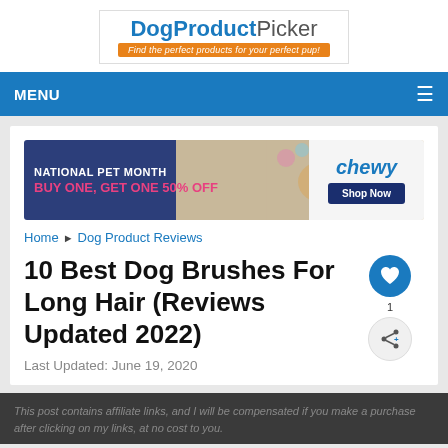[Figure (logo): DogProductPicker logo with blue bold text and orange tagline banner 'Find the perfect products for your perfect pup!']
MENU
[Figure (infographic): Chewy advertisement banner: NATIONAL PET MONTH, BUY ONE, GET ONE 50% OFF, with dog photo and Chewy Shop Now button]
Home ▶ Dog Product Reviews
10 Best Dog Brushes For Long Hair (Reviews Updated 2022)
Last Updated: June 19, 2020
This post contains affiliate links, and I will be compensated if you make a purchase after clicking on my links, at no cost to you.